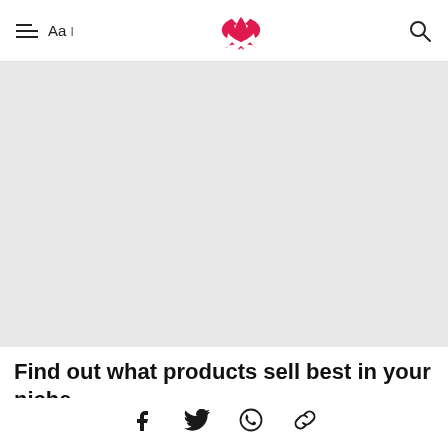≡  Aa ⌕ [lotus logo]
[Figure (photo): Large grey placeholder image area]
Find out what products sell best in your niche
[Figure (infographic): Social share bar with Facebook, Twitter, WhatsApp, and link icons]
In order to know t … rch beforehand.